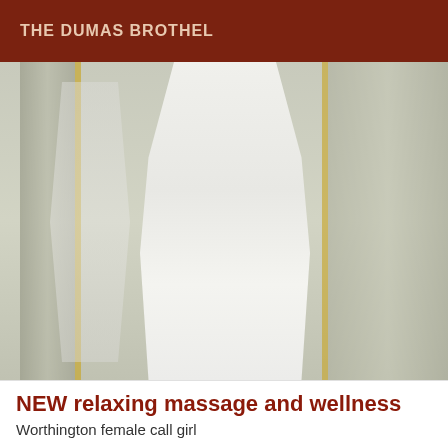THE DUMAS BROTHEL
[Figure (photo): A woman in a white form-fitting dress standing near a mirrored glass door, photographed from the torso down.]
NEW relaxing massage and wellness
Worthington female call girl